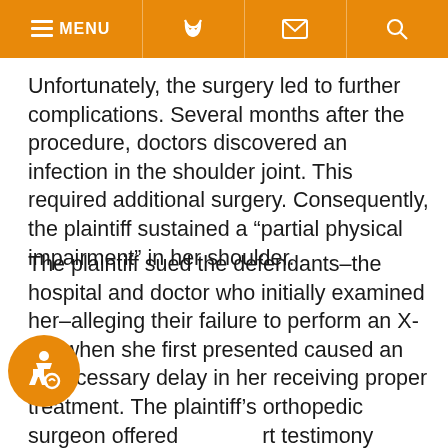MENU
Unfortunately, the surgery led to further complications. Several months after the procedure, doctors discovered an infection in the shoulder joint. This required additional surgery. Consequently, the plaintiff sustained a “partial physical impairment” in her shoulder.
The plaintiff sued the defendants–the hospital and doctor who initially examined her–alleging their failure to perform an X-ray when she first presented caused an unnecessary delay in her receiving proper treatment. The plaintiff’s orthopedic surgeon offered expert testimony stating that, in his professional opinion, “an initial X-ray performed at the initial treatment would have given me more options for treatment than were available by the time I first saw [the plaintiff].” The surgeon stated he could have used